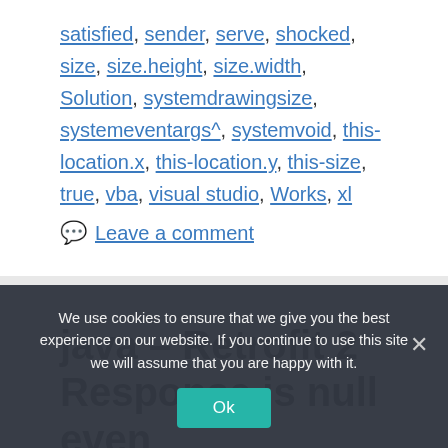satisfied, sender, serve, shocked, size, size.height, size.width, Solution, systemdrawingsize, systemeventargs^, systemvoid, this-location.x, this-location.y, this-size, true, vba, visual studio, Works, xl
💬 Leave a comment
java – Retrofit 2 Response is null even
We use cookies to ensure that we give you the best experience on our website. If you continue to use this site we will assume that you are happy with it.